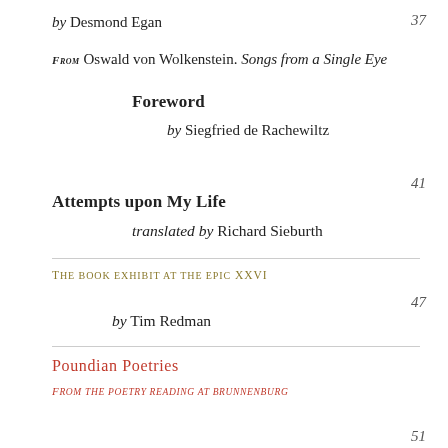by Desmond Egan
FROM Oswald von Wolkenstein. Songs from a Single Eye
Foreword
by Siegfried de Rachewiltz
Attempts upon My Life
translated by Richard Sieburth
THE BOOK EXHIBIT AT THE EPIC XXVI
by Tim Redman
POUNDIAN POETRIES
FROM THE POETRY READING AT BRUNNENBURG